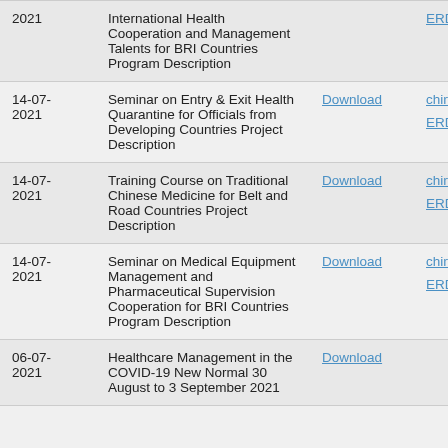| Date | Title | Download | Links |
| --- | --- | --- | --- |
| 2021 | International Health Cooperation and Management Talents for BRI Countries Program Description |  | ERD Form |
| 14-07-2021 | Seminar on Entry & Exit Health Quarantine for Officials from Developing Countries Project Description | Download | china_applica...
ERD Form |
| 14-07-2021 | Training Course on Traditional Chinese Medicine for Belt and Road Countries Project Description | Download | china_applica...
ERD Form |
| 14-07-2021 | Seminar on Medical Equipment Management and Pharmaceutical Supervision Cooperation for BRI Countries Program Description | Download | china_applica...
ERD Form |
| 06-07-2021 | Healthcare Management in the COVID-19 New Normal 30 August to 3 September 2021 | Download |  |